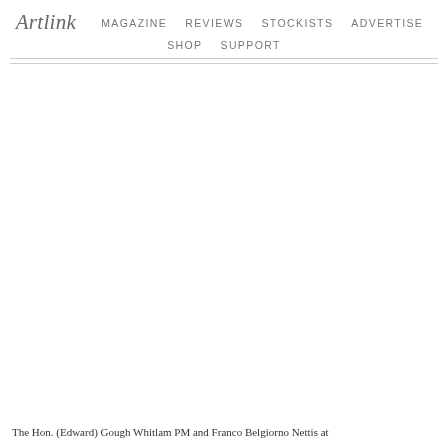Artlink  MAGAZINE  REVIEWS  STOCKISTS  ADVERTISE  SHOP  SUPPORT
[Figure (photo): A large mostly white/blank image area, appears to be a photograph that is mostly white or not rendering, taking up the central portion of the page.]
The Hon. (Edward) Gough Whitlam PM and Franco Belgiorno Nettis at